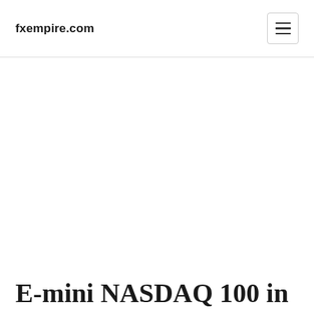fxempire.com
E-mini NASDAQ 100 in